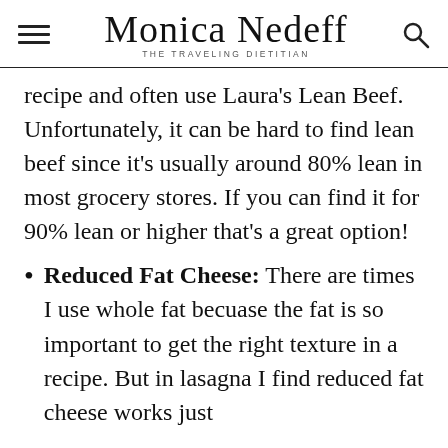Monica Nedeff THE TRAVELING DIETITIAN
recipe and often use Laura's Lean Beef. Unfortunately, it can be hard to find lean beef since it's usually around 80% lean in most grocery stores. If you can find it for 90% lean or higher that's a great option!
Reduced Fat Cheese: There are times I use whole fat becuase the fat is so important to get the right texture in a recipe. But in lasagna I find reduced fat cheese works just